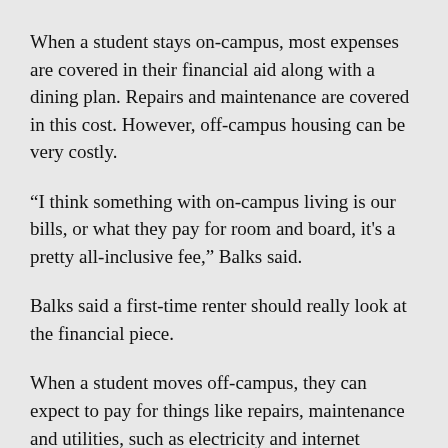When a student stays on-campus, most expenses are covered in their financial aid along with a dining plan. Repairs and maintenance are covered in this cost. However, off-campus housing can be very costly.
“I think something with on-campus living is our bills, or what they pay for room and board, it's a pretty all-inclusive fee,” Balks said.
Balks said a first-time renter should really look at the financial piece.
When a student moves off-campus, they can expect to pay for things like repairs, maintenance and utilities, such as electricity and internet service. In some places, these expenses are included in their monthly rent.